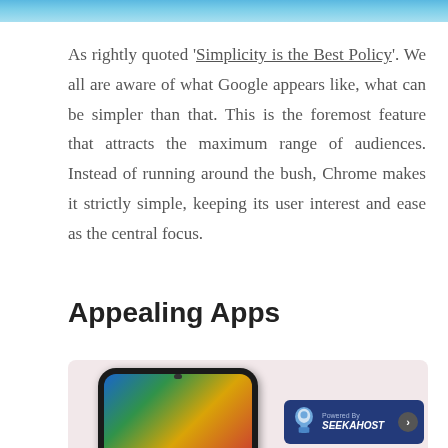[Figure (photo): Top crop of an image, showing a light blue/sky background strip at the top of the page]
As rightly quoted 'Simplicity is the Best Policy'. We all are aware of what Google appears like, what can be simpler than that. This is the foremost feature that attracts the maximum range of audiences. Instead of running around the bush, Chrome makes it strictly simple, keeping its user interest and ease as the central focus.
Appealing Apps
[Figure (photo): Partial photo of a smartphone with a dark case showing app icons on screen, placed on a pinkish/light background. A SeekaHost badge is visible in the bottom right corner of the image.]